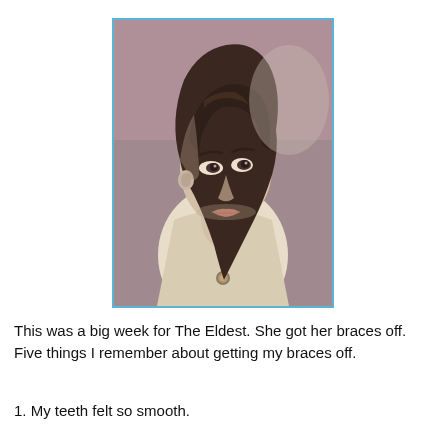[Figure (photo): Vintage portrait photograph of a young woman with dark hair, wearing a light-colored blouse and a floral brooch necklace, looking slightly to the left, against a muted mauve/purple background. Photo has a light blue border.]
This was a big week for The Eldest. She got her braces off. Five things I remember about getting my braces off.
1. My teeth felt so smooth.